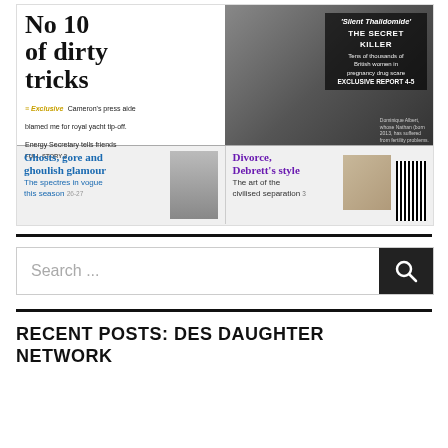[Figure (screenshot): Newspaper front page screenshot showing headlines: 'No 10 of dirty tricks' with exclusive subtext about Cameron's press aide and royal yacht tip-off. Right side shows a photo with 'Silent Thalidomide - THE SECRET KILLER' overlay. Bottom section shows 'Ghosts, gore and ghoulish glamour' with photo of man in suit and 'Divorce, Debrett's style' with book image and barcode.]
[Figure (screenshot): Search bar with placeholder text 'Search ...' and dark search button with magnifying glass icon.]
RECENT POSTS: DES DAUGHTER NETWORK